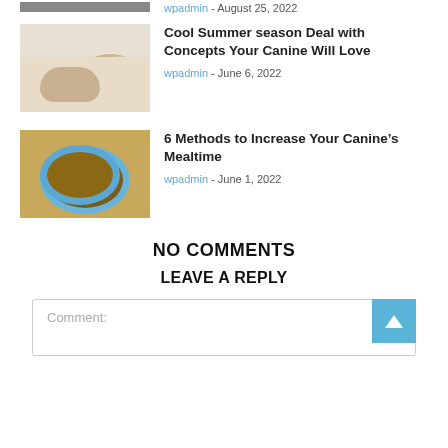wpadmin - August 25, 2022
[Figure (photo): Dog being fed a treat by a hand, light background]
Cool Summer season Deal with Concepts Your Canine Will Love
wpadmin - June 6, 2022
[Figure (photo): Bowl of dog food on wooden floor viewed from above]
6 Methods to Increase Your Canine’s Mealtime
wpadmin - June 1, 2022
NO COMMENTS
LEAVE A REPLY
Comment: